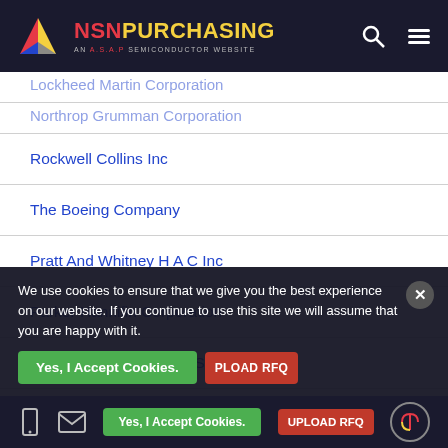NSN PURCHASING — AN A.S.A.P SEMICONDUCTOR WEBSITE
Rockwell Collins Inc
The Boeing Company
Pratt And Whitney H A C Inc
Parker Hannifin Corporation
Meggitt Aircraft Braking Systems
Pacific Scientific Company
Oshkosh Corporation
Moog Norris Inc
We use cookies to ensure that we give you the best experience on our website. If you continue to use this site we will assume that you are happy with it.
Yes, I Accept Cookies. | UPLOAD RFQ